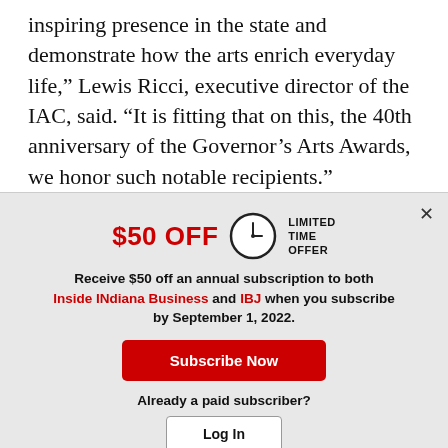inspiring presence in the state and demonstrate how the arts enrich everyday life,” Lewis Ricci, executive director of the IAC, said. “It is fitting that on this, the 40th anniversary of the Governor’s Arts Awards, we honor such notable recipients.”
[Figure (other): Advertisement banner: $50 OFF LIMITED TIME OFFER. Receive $50 off an annual subscription to both Inside INdiana Business and IBJ when you subscribe by September 1, 2022. Subscribe Now button. Already a paid subscriber? Log In button.]